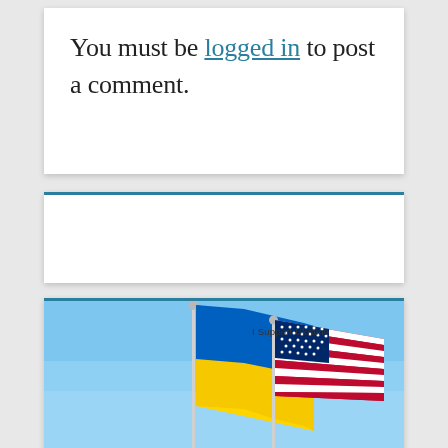You must be logged in to post a comment.
[Figure (photo): Ukrainian and American flags waving against a blue sky, with text 'I Support Ukraine']